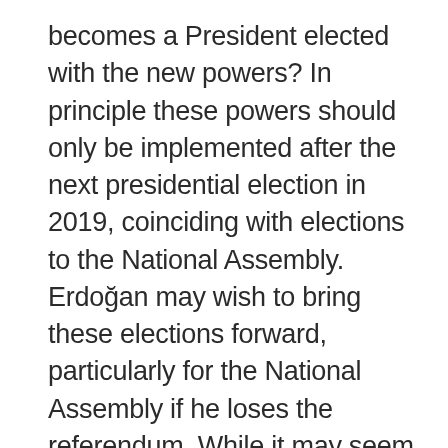becomes a President elected with the new powers? In principle these powers should only be implemented after the next presidential election in 2019, coinciding with elections to the National Assembly. Erdoğan may wish to bring these elections forward, particularly for the National Assembly if he loses the referendum. While it may seem outrageous for the Council of Ministers to keep prolonging the state of emergency until 2019, the AKP government has been doing more and more previously outrageous and even unimaginable things now for some years, particularly since the Gezi protests of 2013.